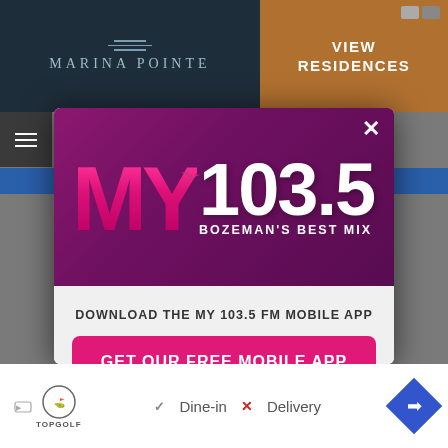[Figure (screenshot): Background webpage showing Marina Pointe logo ad on left and 'VIEW RESIDENCES' orange button on right, with dark header]
[Figure (screenshot): MY 103.5 FM radio station mobile app download modal popup. Purple/magenta header with MY 103.5 Bozeman's Best Mix logo. Body shows 'DOWNLOAD THE MY 103.5 FM MOBILE APP' text, pink 'GET OUR FREE MOBILE APP' button, and 'Also listen on: amazon alexa' with Alexa circle icon. Close X button top right.]
[Figure (screenshot): Bottom advertisement bar showing TopGolf logo with Dine-in checkmark and Delivery X cross options and navigation arrow]